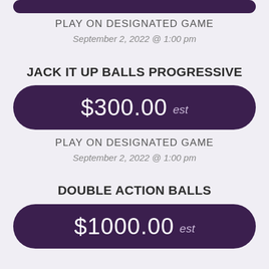[Figure (other): Dark purple rounded pill/button clipped at top of page]
PLAY ON DESIGNATED GAME
September 2, 2022 @ 1:00 pm
JACK IT UP BALLS PROGRESSIVE
[Figure (other): Dark purple rounded pill showing $300.00 est]
PLAY ON DESIGNATED GAME
September 2, 2022 @ 1:00 pm
DOUBLE ACTION BALLS
[Figure (other): Dark purple rounded pill showing $1000.00 est]